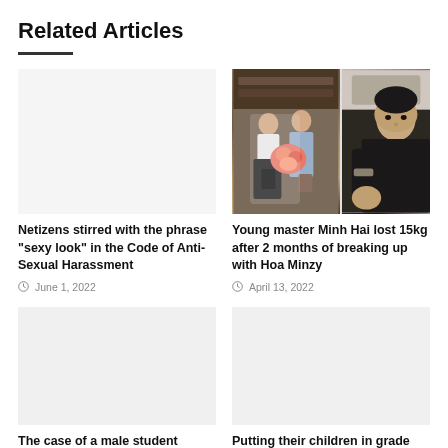Related Articles
[Figure (photo): No image placeholder for left article about Anti-Sexual Harassment code]
Netizens stirred with the phrase “sexy look” in the Code of Anti-Sexual Harassment
June 1, 2022
[Figure (photo): Photo collage: left photo shows a couple with flowers, right photo shows a young man in black]
Young master Minh Hai lost 15kg after 2 months of breaking up with Hoa Minzy
April 13, 2022
[Figure (photo): No image placeholder for bottom-left article about male student]
The case of a male student
[Figure (photo): No image placeholder for bottom-right article about children in grade]
Putting their children in grade